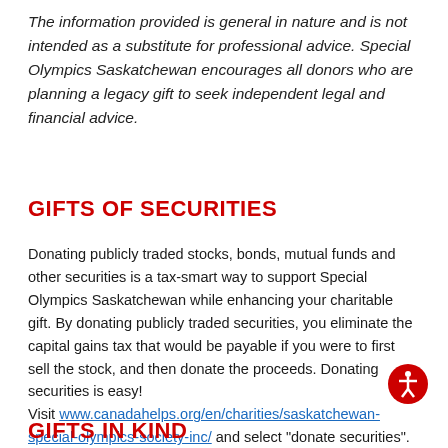The information provided is general in nature and is not intended as a substitute for professional advice. Special Olympics Saskatchewan encourages all donors who are planning a legacy gift to seek independent legal and financial advice.
GIFTS OF SECURITIES
Donating publicly traded stocks, bonds, mutual funds and other securities is a tax-smart way to support Special Olympics Saskatchewan while enhancing your charitable gift. By donating publicly traded securities, you eliminate the capital gains tax that would be payable if you were to first sell the stock, and then donate the proceeds. Donating securities is easy! Visit www.canadahelps.org/en/charities/saskatchewan-special-olympics-society-inc/ and select "donate securities".
GIFTS IN KIND